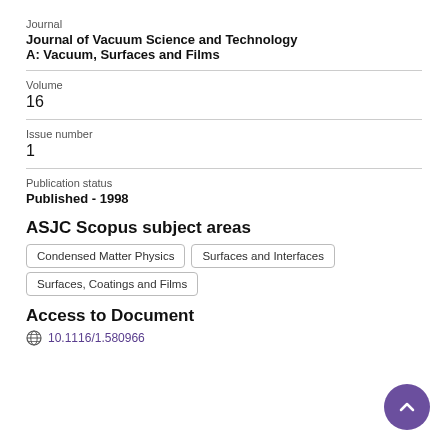Journal
Journal of Vacuum Science and Technology A: Vacuum, Surfaces and Films
Volume
16
Issue number
1
Publication status
Published - 1998
ASJC Scopus subject areas
Condensed Matter Physics
Surfaces and Interfaces
Surfaces, Coatings and Films
Access to Document
10.1116/1.580966